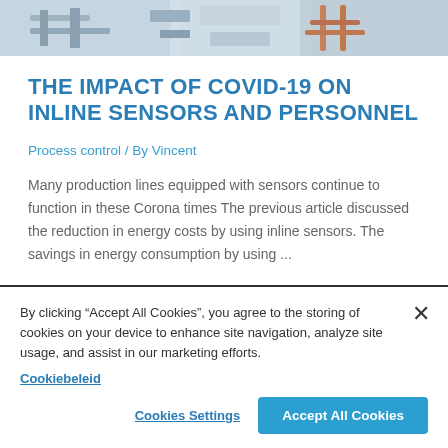[Figure (photo): Industrial machinery / inline sensor equipment, showing pipes and mechanical components in a factory setting]
THE IMPACT OF COVID-19 ON INLINE SENSORS AND PERSONNEL
Process control / By Vincent
Many production lines equipped with sensors continue to function in these Corona times The previous article discussed the reduction in energy costs by using inline sensors. The savings in energy consumption by using ...
By clicking “Accept All Cookies”, you agree to the storing of cookies on your device to enhance site navigation, analyze site usage, and assist in our marketing efforts. Cookiebeleid
Cookies Settings
Accept All Cookies